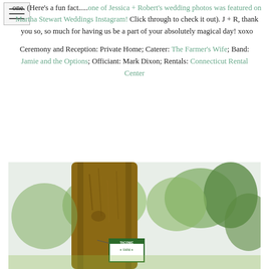one. (Here's a fun fact....one of Jessica + Robert's wedding photos was featured on Martha Stewart Weddings Instagram! Click through to check it out). J + R, thank you so, so much for having us be a part of your absolutely magical day! xoxo
Ceremony and Reception: Private Home; Caterer: The Farmer's Wife; Band: Jamie and the Options; Officiant: Mark Dixon; Rentals: Connecticut Rental Center
[Figure (photo): Outdoor photo showing a large tree trunk in the foreground with green trees and a small Taconic Farm sign visible in the background against a light sky.]